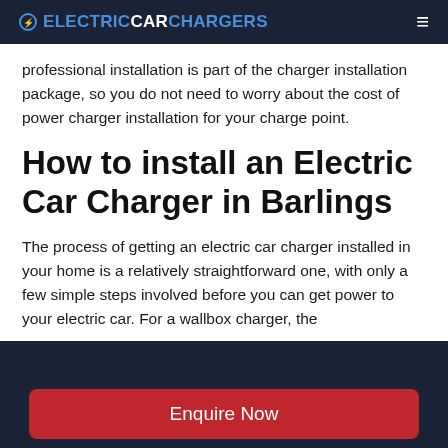ELECTRICCARCHARGERS
professional installation is part of the charger installation package, so you do not need to worry about the cost of power charger installation for your charge point.
How to install an Electric Car Charger in Barlings
The process of getting an electric car charger installed in your home is a relatively straightforward one, with only a few simple steps involved before you can get power to your electric car. For a wallbox charger, the
Enquire Now